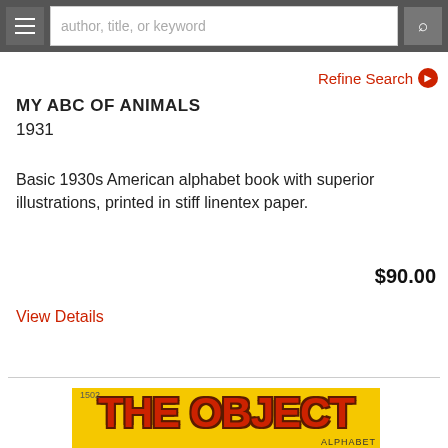author, title, or keyword
Refine Search
MY ABC OF ANIMALS
1931
Basic 1930s American alphabet book with superior illustrations, printed in stiff linentex paper.
$90.00
View Details
[Figure (photo): Partial view of a yellow book cover reading 'THE OBJECT ALPHABET' with red bold text and decorative shapes at the bottom, item number 1502 visible in top left corner]